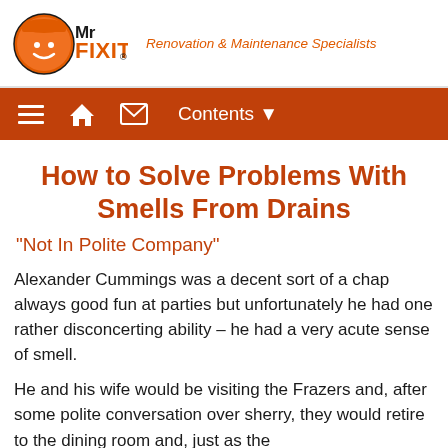MrFIXIT - Renovation & Maintenance Specialists
How to Solve Problems With Smells From Drains
"Not In Polite Company"
Alexander Cummings was a decent sort of a chap always good fun at parties but unfortunately he had one rather disconcerting ability – he had a very acute sense of smell.
He and his wife would be visiting the Frazers and, after some polite conversation over sherry, they would retire to the dining room and, just as the